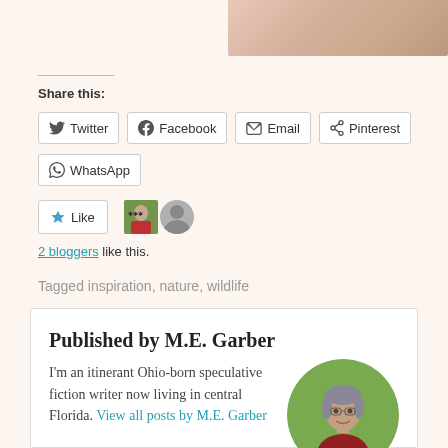[Figure (photo): Partial image of textured pinkish/beige surface, cropped at top right]
Share this:
Twitter | Facebook | Email | Pinterest
WhatsApp
Like
2 bloggers like this.
Tagged inspiration, nature, wildlife
Published by M.E. Garber
I'm an itinerant Ohio-born speculative fiction writer now living in central Florida. View all posts by M.E. Garber
[Figure (photo): Circular author photo of M.E. Garber, a woman with gray-streaked hair, in front of green foliage]